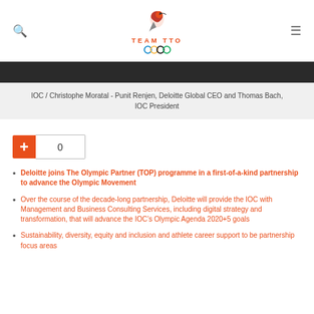TEAM TTO
IOC / Christophe Moratal - Punit Renjen, Deloitte Global CEO and Thomas Bach, IOC President
Deloitte joins The Olympic Partner (TOP) programme in a first-of-a-kind partnership to advance the Olympic Movement
Over the course of the decade-long partnership, Deloitte will provide the IOC with Management and Business Consulting Services, including digital strategy and transformation, that will advance the IOC’s Olympic Agenda 2020+5 goals
Sustainability, diversity, equity and inclusion and athlete career support to be partnership focus areas